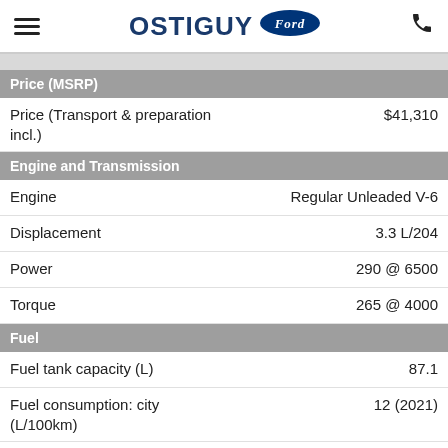OSTIGUY Ford
Price (MSRP)
| Spec | Value |
| --- | --- |
| Price (Transport & preparation incl.) | $41,310 |
| Engine | Regular Unleaded V-6 |
| Displacement | 3.3 L/204 |
| Power | 290 @ 6500 |
| Torque | 265 @ 4000 |
| Fuel tank capacity (L) | 87.1 |
| Fuel consumption: city (L/100km) | 12 (2021) |
| Fuel consumption: highway (L/100km) | 9.8 (2021) |
Engine and Transmission
Fuel